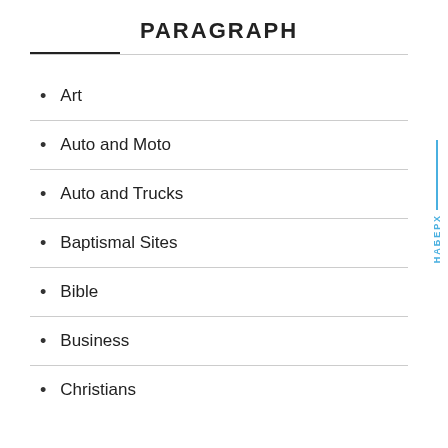PARAGRAPH
Art
Auto and Moto
Auto and Trucks
Baptismal Sites
Bible
Business
Christians